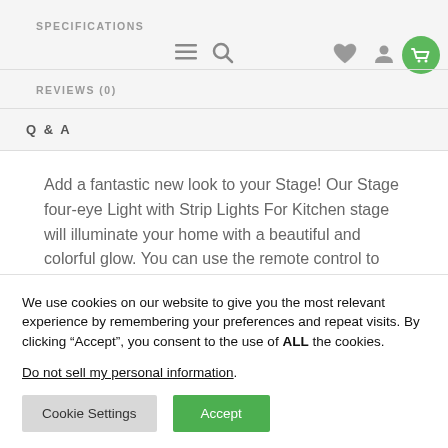SPECIFICATIONS
REVIEWS (0)
Q & A
Add a fantastic new look to your Stage! Our Stage four-eye Light with Strip Lights For Kitchen stage will illuminate your home with a beautiful and colorful glow. You can use the remote control to adjust the color and brightness.
We use cookies on our website to give you the most relevant experience by remembering your preferences and repeat visits. By clicking “Accept”, you consent to the use of ALL the cookies.
Do not sell my personal information.